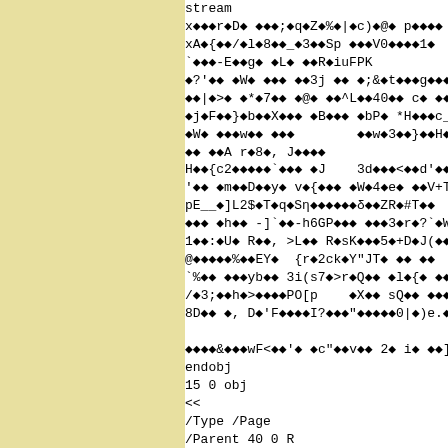stream
x◆◆◆r◆D◆ ◆◆◆;◆q◆Z◆%◆|◆c)◆@◆ p◆◆◆◆
xA◆{◆◆/◆l◆8◆◆_◆3◆◆Sp ◆◆◆V0◆◆◆◆1◆
`◆◆◆-E◆◆g◆ ◆L◆ ◆◆R◆iuFPK
◆?'◆◆ ◆W◆ ◆◆◆ ◆◆3j ◆◆ ◆;&◆t◆◆◆g◆◆◆◆◆_ū◆
◆◆|◆>◆ ◆*◆7◆◆ ◆@◆ ◆◆^L◆◆40◆◆ c◆ ◆◆◆o◆=◆◆◆
◆j◆F◆◆}◆b◆◆X◆◆◆ ◆B◆◆◆ ◆bP◆ *H◆◆◆c__-,
◆W◆ ◆◆◆w◆◆ ◆◆◆        ◆◆w◆3◆◆}◆◆H◆`◆
◆◆ ◆◆A r◆8◆, J◆◆◆◆
H◆◆{c2◆◆◆◆◆`◆◆◆ ◆J    3d◆◆◆<◆◆d'◆◆@◆
'◆◆ ◆m◆◆D◆◆y◆ v◆{◆◆◆ ◆W◆4◆e◆ ◆◆V+TZB◆
pE__◆]L2$◆T◆q◆Sη◆◆◆◆◆◆δ◆◆ZR◆#T◆◆
◆◆◆ ◆h◆◆ -]`◆◆-h6GP◆◆◆ ◆◆◆3◆r◆?`◆W8◆+◆
1◆◆:◆U◆ R◆◆, >L◆◆ R◆sK◆◆◆5◆+D◆J(◆◆◆◆3
@◆◆◆◆◆%◆◆EY◆  {r◆2ck◆Y"JT◆ ◆◆ ◆◆
`%◆◆ ◆◆◆yb◆◆ 3i(s7◆>r◆Q◆◆ ◆l◆{◆ ◆◆.+◆M◆
/◆3;◆◆h◆>◆◆◆◆PO[p    ◆X◆◆ sQ◆◆ ◆◆◆3◆◆
8D◆◆ ◆, D◆'F◆◆◆◆I?◆◆◆"◆◆◆◆◆0|◆)e.◆ ◆◆◆◆

◆◆◆◆&◆◆◆wF<◆◆'◆ ◆c"◆◆v◆◆ 2◆ i◆ ◆◆]◆C'
endobj
15 0 obj
<<
/Type /Page
/Parent 40 0 R
/Contents 16 0 R
/MediaBox [0 0 612 792]
/TrimBox [0 0 612 792]